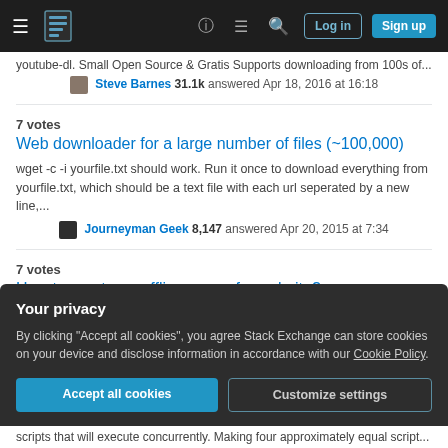Stack Exchange navigation bar with Log in and Sign up buttons
youtube-dl. Small Open Source & Gratis Supports downloading from 100s of...
Steve Barnes 31.1k answered Apr 18, 2016 at 16:18
7 votes
Web downloader for a large number of files (~100,000)
wget -c -i yourfile.txt should work. Run it once to download everything from yourfile.txt, which should be a text file with each url seperated by a new line,...
Journeyman Geek 8,147 answered Apr 20, 2015 at 7:34
7 votes
How to create an offline copy of a website?
You can use HTTrack Website Copier: free and open source (GNU General
Your privacy
By clicking "Accept all cookies", you agree Stack Exchange can store cookies on your device and disclose information in accordance with our Cookie Policy.
scripts that will execute concurrently. Making four approximately equal script...